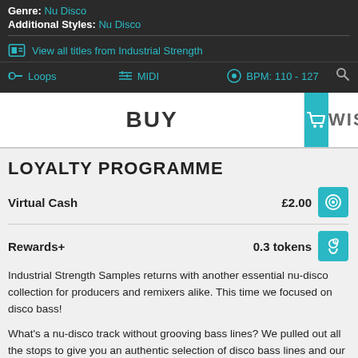Genre: Nu Disco
Additional Styles: Nu Disco
View all titles from Industrial Strength
Loops   MIDI   BPM: 110 - 127
BUY   WISHLIST
LOYALTY PROGRAMME
Virtual Cash   £2.00
Rewards+   0.3 tokens
Industrial Strength Samples returns with another essential nu-disco collection for producers and remixers alike. This time we focused on disco bass!
What's a nu-disco track without grooving bass lines? We pulled out all the stops to give you an authentic selection of disco bass lines and our infamous loop kits to use in your next production.
This pack works particularly well in collaboration with our other award-winning